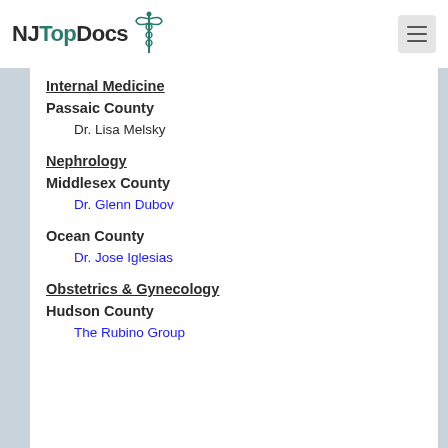NJ Top Docs
Internal Medicine
Passaic County
Dr. Lisa Melsky
Nephrology
Middlesex County
Dr. Glenn Dubov
Ocean County
Dr. Jose Iglesias
Obstetrics & Gynecology
Hudson County
The Rubino Group